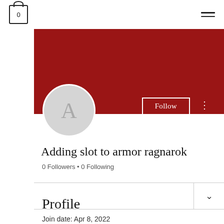[Figure (screenshot): Top navigation bar with cart icon (0) on left and hamburger menu on right]
[Figure (screenshot): Dark red banner/cover image for user profile with Follow button and three-dot menu]
Adding slot to armor ragnarok
0 Followers • 0 Following
Profile
Join date: Apr 8, 2022